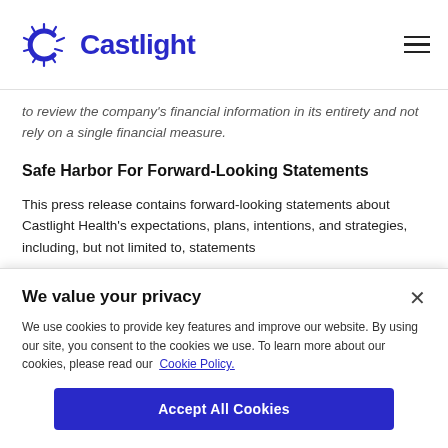Castlight
to review the company's financial information in its entirety and not rely on a single financial measure.
Safe Harbor For Forward-Looking Statements
This press release contains forward-looking statements about Castlight Health's expectations, plans, intentions, and strategies, including, but not limited to, statements
We value your privacy
We use cookies to provide key features and improve our website. By using our site, you consent to the cookies we use. To learn more about our cookies, please read our Cookie Policy.
Accept All Cookies